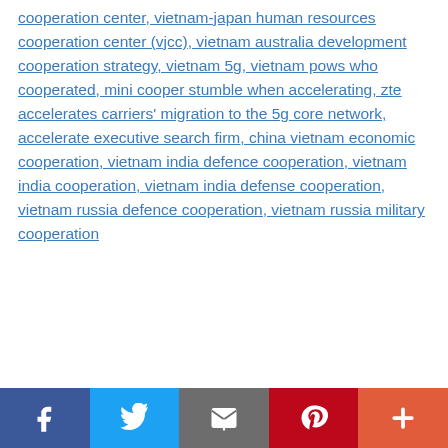cooperation center, vietnam-japan human resources cooperation center (vjcc), vietnam australia development cooperation strategy, vietnam 5g, vietnam pows who cooperated, mini cooper stumble when accelerating, zte accelerates carriers' migration to the 5g core network, accelerate executive search firm, china vietnam economic cooperation, vietnam india defence cooperation, vietnam india cooperation, vietnam india defense cooperation, vietnam russia defence cooperation, vietnam russia military cooperation
[Figure (infographic): Social sharing bar with five buttons: Facebook (dark blue), Twitter (light blue), Email (gray), Pinterest (red), and a plus/more button (orange-red)]